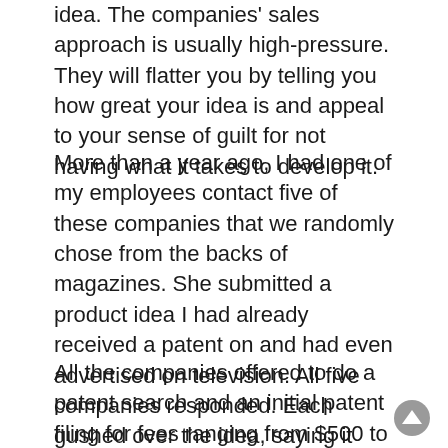idea. The companies' sales approach is usually high-pressure. They will flatter you by telling you how great your idea is and appeal to your sense of guilt for not having what it takes to develop it.
More than a year ago, I had one of my employees contact five of these companies that we randomly chose from the backs of magazines. She submitted a product idea I had already received a patent on and had even advertised on television. All five companies responded. Each gushed over the idea, saying it was fantastic, and each claimed to have done a preliminary investigation that showed the idea was patentable.
All the companies offered to do a patent search and an initial patent filing for fees ranging from $500 to $5,000 upfront. One company gave her a quote of $10,000 & 20 percent of future profits to "develop" the idea. The